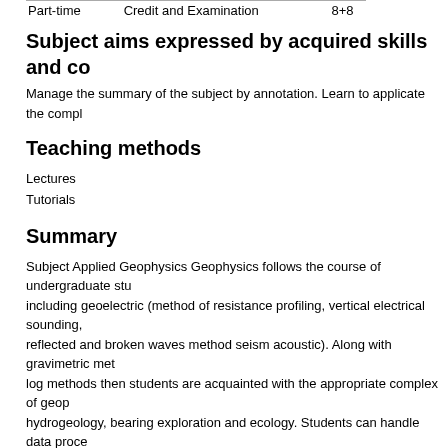| Part-time | Credit and Examination | 8+8 |
Subject aims expressed by acquired skills and co
Manage the summary of the subject by annotation. Learn to applicate the compl
Teaching methods
Lectures
Tutorials
Summary
Subject Applied Geophysics Geophysics follows the course of undergraduate stu including geoelectric (method of resistance profiling, vertical electrical sounding, reflected and broken waves method seism acoustic). Along with gravimetric met log methods then students are acquainted with the appropriate complex of geop hydrogeology, bearing exploration and ecology. Students can handle data proce
Compulsory literature:
Reeves, C.; Aeromagnetic Surveys - Principles, Practice & Interpretation.  Earthy
McCann, D. M.; Modern geophysics in engineering geology. London : Geologica
Milsom, J.; Field Geophysics, Published by John Wiley&Sons Ltd, The Atrium, S
Burger, R. H.; Exploration Geophysics of the Shallow Subsurface Har/Dskt Editi
Recommended literature: